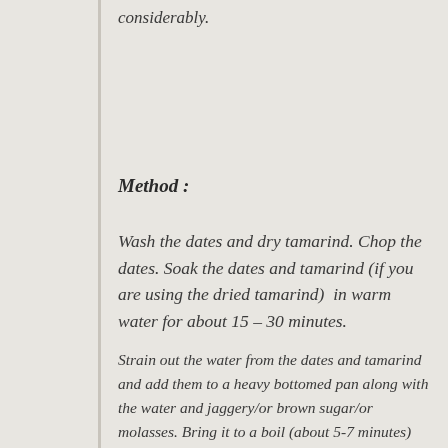considerably.
Method :
Wash the dates and dry tamarind. Chop the dates. Soak the dates and tamarind (if you are using the dried tamarind)  in warm water for about 15 – 30 minutes.
Strain out the water from the dates and tamarind and add them to a heavy bottomed pan along with the water and jaggery/or brown sugar/or molasses. Bring it to a boil (about 5-7 minutes) and then add the rest of the ingredients/spices to the pan. Simmer in low heat for about 15-20 minutes or until the mix becomes thick and pulpy. The